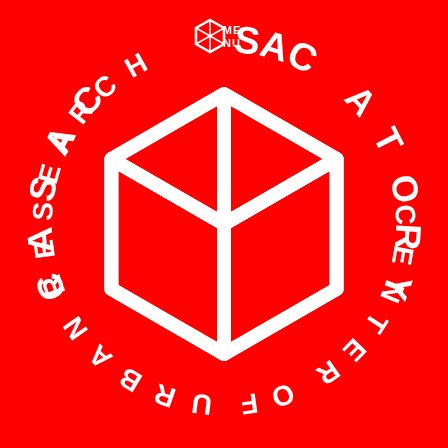[Figure (logo): CASAC Observatory / Center of Urban Research logo on red background. White hexagonal 3D cube icon in center with circular text reading 'CASAC' on upper left and 'ATORY' on upper right and 'CENTER OF URBAN RESEARCH' along the bottom arc. Small MENU logo at top center with a divided hexagon icon.]